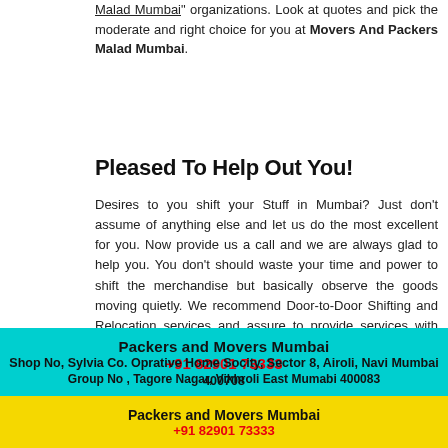Malad Mumbai" organizations. Look at quotes and pick the moderate and right choice for you at Movers And Packers Malad Mumbai.
Pleased To Help Out You!
Desires to you shift your Stuff in Mumbai? Just don't assume of anything else and let us do the most excellent for you. Now provide us a call and we are always glad to help you. You don't should waste your time and power to shift the merchandise but basically observe the goods moving quietly. We recommend Door-to-Door Shifting and Relocation services and assure to provide services with honesty and advanced quality. Our online directions and instructions are surely capable of help you better understand your relocation matters, get moving and shifting quotes for your relocation wants. Note: we are not advancing any moving and packing organization. We are just sharing about some of the top packers and movers organizations and helping get free gauges of great administration suppliers.
Packers and Movers Mumbai +91 82901 73333 Group No , Tagore Nagar, Vikhroli East Mumabi 400083
Packers and Movers Mumbai +91 82901 73333 Shop No, Sylvia Co. Oprative Home Socity, Sector 8, Airoli, Navi Mumbai 400708